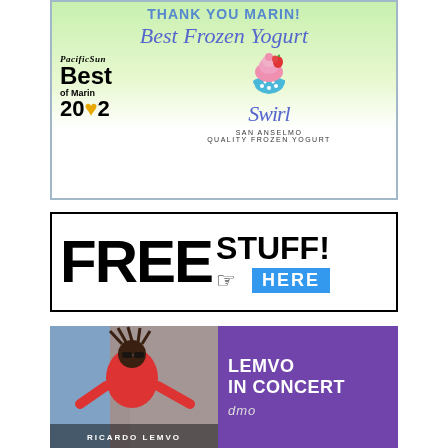[Figure (illustration): Swirl Frozen Yogurt advertisement. Top: green gradient background with 'THANK YOU MARIN! Best Frozen Yogurt' in blue/purple script. Left: PacificSun Best of Marin 2022 badge in black with yellow heart. Center-right: cupcake/frozen yogurt icon above 'Swirl' in cursive blue script with 'SAN ANSELMO QUALITY FROZEN YOGURT' below in small caps.]
[Figure (illustration): Free Stuff advertisement. White background with black border. Large bold black text 'FREE' on left, 'STUFF!' on right. Below: a pointing hand icon followed by a blue badge reading 'HERE' in white bold text.]
[Figure (illustration): Lemvo In Concert advertisement. Left half shows photo of performer (Ricardo Lemvo) in red jacket with sunglasses and dreadlocks against a colorful background. Right half is purple with white bold text 'LEMVO IN CONCERT' and a partial logo below.]